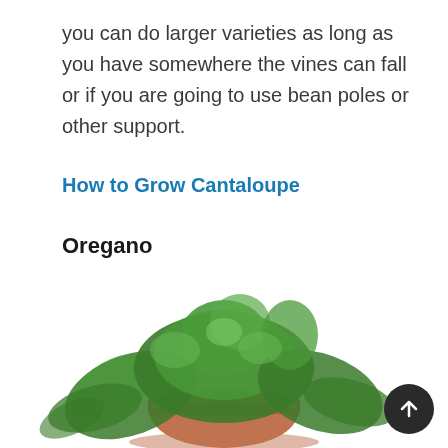you can do larger varieties as long as you have somewhere the vines can fall or if you are going to use bean poles or other support.
How to Grow Cantaloupe
Oregano
[Figure (photo): Oregano plant in a terracotta pot with lush green small-leafed stems spreading outward, photographed against a white background.]